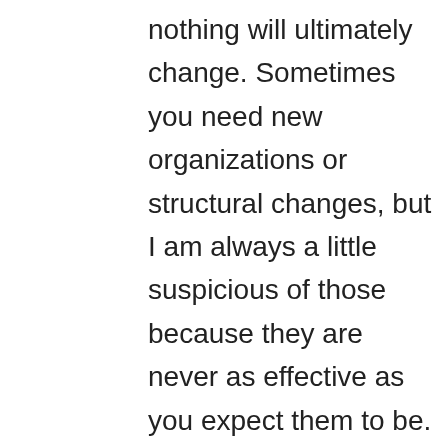nothing will ultimately change. Sometimes you need new organizations or structural changes, but I am always a little suspicious of those because they are never as effective as you expect them to be. Process and culture are more important. But someone will have to drive that hard and tell people what is being done and why. It cannot be subtle, and might even be frightening. None of the presidential candidates has mentioned this at all. None of the campaigns has touched this because what I'm talking about is extremely difficult. Making government more effective, particularly in the national security realm, is going to require a forceful and determined